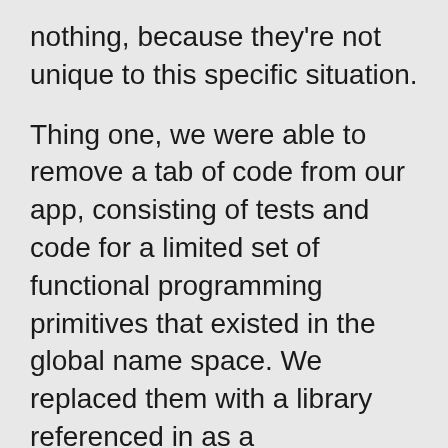nothing, because they're not unique to this specific situation.
Thing one, we were able to remove a tab of code from our app, consisting of tests and code for a limited set of functional programming primitives that existed in the global name space. We replaced them with a library referenced in as a dependency, which does NOT contaminate the global name space so badly, and which offers (we can imagine) better curated more general capabilities than our very specific ones. And plugging them in was pretty easy. We could have done each of those changes separately and evolved away from TableOperations